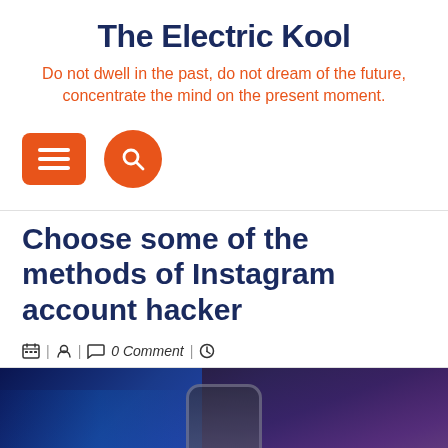The Electric Kool
Do not dwell in the past, do not dream of the future, concentrate the mind on the present moment.
[Figure (other): Orange hamburger menu button (rounded rectangle) and orange circular search button with magnifying glass icon]
Choose some of the methods of Instagram account hacker
| | 0 Comment |
[Figure (photo): Dark blue-toned photo of a person (hacker) in a hoodie looking at a glowing screen with blue digital elements]